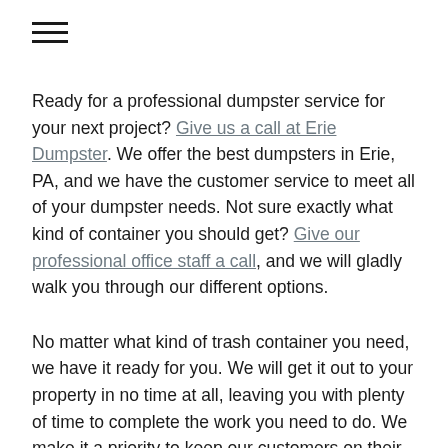≡
Ready for a professional dumpster service for your next project? Give us a call at Erie Dumpster. We offer the best dumpsters in Erie, PA, and we have the customer service to meet all of your dumpster needs. Not sure exactly what kind of container you should get? Give our professional office staff a call, and we will gladly walk you through our different options.
No matter what kind of trash container you need, we have it ready for you. We will get it out to your property in no time at all, leaving you with plenty of time to complete the work you need to do. We make it a priority to keep our customers on their own schedule - we aim to make sure you never have to wait for a replacement dumpster. This quality service is just one of the reasons we are the best dumpster rental Erie has to offer. If you'd